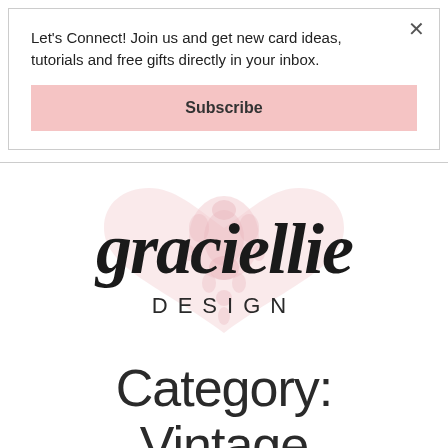Let's Connect! Join us and get new card ideas, tutorials and free gifts directly in your inbox.
Subscribe
[Figure (logo): Graciellie Design logo — cursive script 'graciellie' in black over a pink damask heart, with 'DESIGN' in spaced capitals below]
Category: Vintage